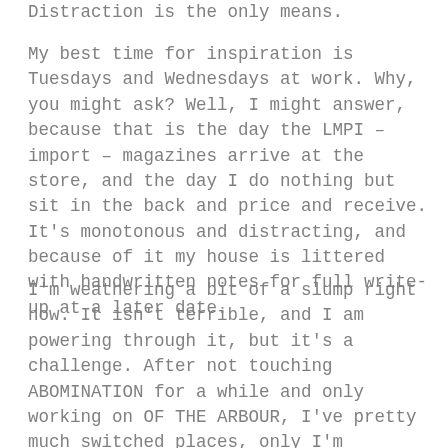Distraction is the only means.
My best time for inspiration is Tuesdays and Wednesdays at work. Why, you might ask? Well, I might answer, because that is the day the LMPI – import – magazines arrive at the store, and the day I do nothing but sit in the back and price and receive. It's monotonous and distracting, and because of it my house is littered with handwritten notes for full write-up at a later date.
I'm weathering a bit of a slump right now. It isn't terrible, and I am powering through it, but it's a challenge. After not touching ABOMINATION for a while and only working on OF THE ARBOUR, I've pretty much switched places, only I'm trudging on the former and now flying through it as I did with OF